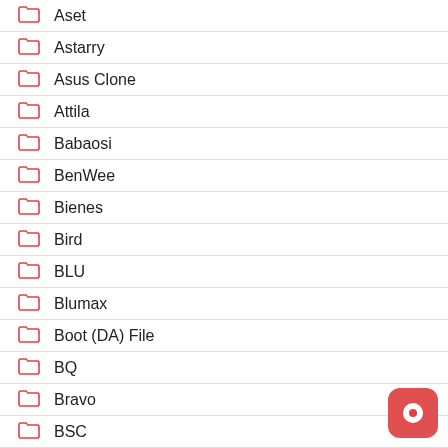Aset
Astarry
Asus Clone
Attila
Babaosi
BenWee
Bienes
Bird
BLU
Blumax
Boot (DA) File
BQ
Bravo
BSC
Buzz